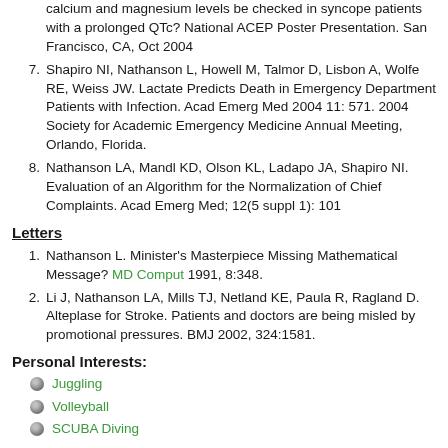calcium and magnesium levels be checked in syncope patients with a prolonged QTc? National ACEP Poster Presentation. San Francisco, CA, Oct 2004
7. Shapiro NI, Nathanson L, Howell M, Talmor D, Lisbon A, Wolfe RE, Weiss JW. Lactate Predicts Death in Emergency Department Patients with Infection. Acad Emerg Med 2004 11: 571. 2004 Society for Academic Emergency Medicine Annual Meeting, Orlando, Florida.
8. Nathanson LA, Mandl KD, Olson KL, Ladapo JA, Shapiro NI. Evaluation of an Algorithm for the Normalization of Chief Complaints. Acad Emerg Med; 12(5 suppl 1): 101
Letters
1. Nathanson L. Minister's Masterpiece Missing Mathematical Message? MD Comput 1991, 8:348.
2. Li J, Nathanson LA, Mills TJ, Netland KE, Paula R, Ragland D. Alteplase for Stroke. Patients and doctors are being misled by promotional pressures. BMJ 2002, 324:1581.
Personal Interests:
Juggling
Volleyball
SCUBA Diving